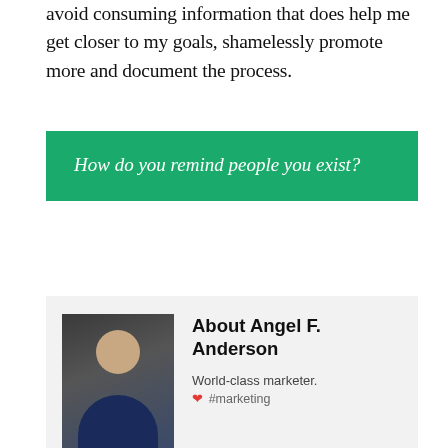avoid consuming information that does help me get closer to my goals, shamelessly promote more and document the process.
How do you remind people you exist?
[Figure (photo): Headshot photo of Angel F. Anderson, a bald man with white-framed glasses wearing a dark blue shirt, smiling, against a dark background]
About Angel F. Anderson
World-class marketer.